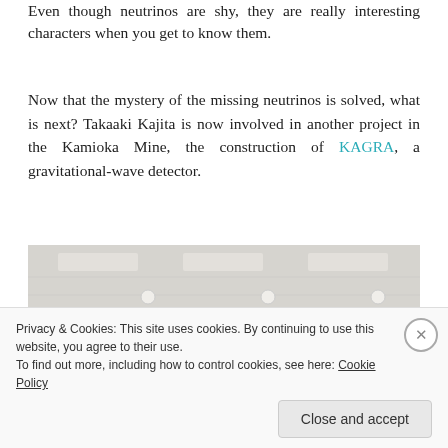Even though neutrinos are shy, they are really interesting characters when you get to know them.
Now that the mystery of the missing neutrinos is solved, what is next? Takaaki Kajita is now involved in another project in the Kamioka Mine, the construction of KAGRA, a gravitational-wave detector.
[Figure (photo): Control room with multiple monitors displaying blue and orange interface screens, viewed from below a white ceiling with recessed lights.]
Privacy & Cookies: This site uses cookies. By continuing to use this website, you agree to their use.
To find out more, including how to control cookies, see here: Cookie Policy
[Close and accept button]